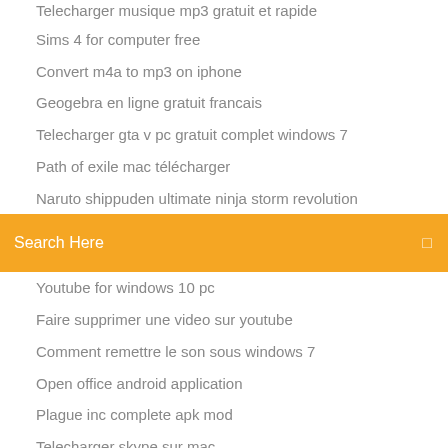Telecharger musique mp3 gratuit et rapide
Sims 4 for computer free
Convert m4a to mp3 on iphone
Geogebra en ligne gratuit francais
Telecharger gta v pc gratuit complet windows 7
Path of exile mac télécharger
Naruto shippuden ultimate ninja storm revolution
Search Here
Youtube for windows 10 pc
Faire supprimer une video sur youtube
Comment remettre le son sous windows 7
Open office android application
Plague inc complete apk mod
Telecharger skype sur mac
Tv5 jeu question pour un champion
Comment télécharger une application sur samsung galaxy j3 2020
Jpg to pdf freeware